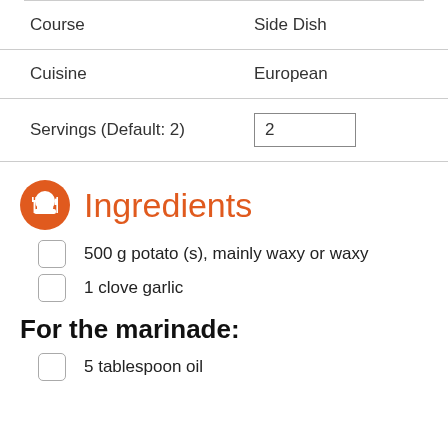| Course | Side Dish |
| --- | --- |
| Cuisine | European |
| Servings (Default: 2) | 2 |
Ingredients
500 g potato (s), mainly waxy or waxy
1 clove garlic
For the marinade:
5 tablespoon oil